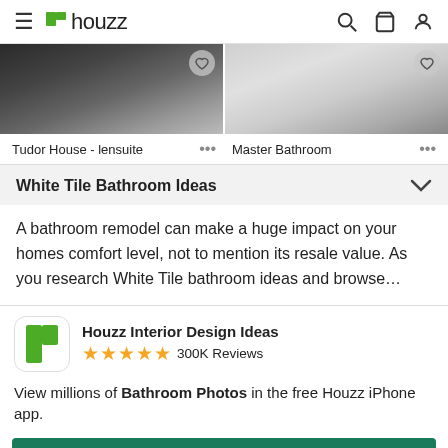houzz
[Figure (photo): Two bathroom photos side by side: left shows Tudor House lensuite with dark cabinetry and tile floor, right shows Master Bathroom with white paneling and dark tile]
Tudor House - lensuite   ...   Master Bathroom   ...
White Tile Bathroom Ideas
A bathroom remodel can make a huge impact on your homes comfort level, not to mention its resale value. As you research White Tile bathroom ideas and browse...
[Figure (logo): Houzz app icon - green H shape]
Houzz Interior Design Ideas ★★★★★ 300K Reviews
View millions of Bathroom Photos in the free Houzz iPhone app.
Continue
Go to Mobile Site